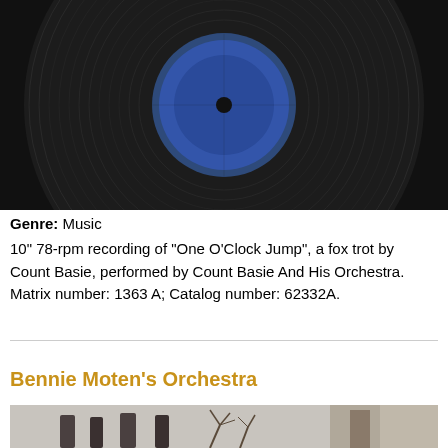[Figure (photo): Close-up of a black vinyl 78-rpm record with a blue label at center, showing grooves detail]
Genre: Music
10" 78-rpm recording of "One O'Clock Jump", a fox trot by Count Basie, performed by Count Basie And His Orchestra. Matrix number: 1363 A; Catalog number: 62332A.
Bennie Moten's Orchestra
[Figure (photo): Black and white photograph of a group of people outside a building, partially visible at bottom of page]